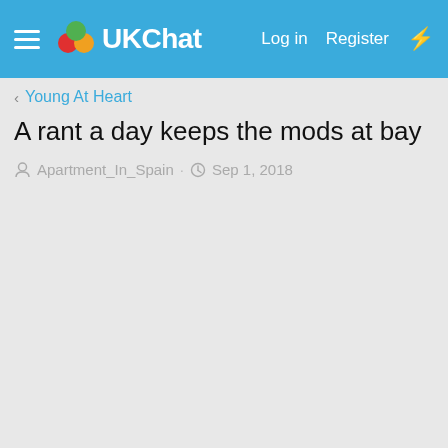UKChat — Log in   Register
< Young At Heart
A rant a day keeps the mods at bay
Apartment_In_Spain · Sep 1, 2018